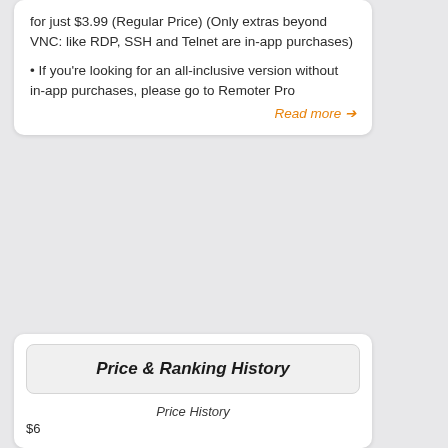for just $3.99 (Regular Price) (Only extras beyond VNC: like RDP, SSH and Telnet are in-app purchases)
• If you're looking for an all-inclusive version without in-app purchases, please go to Remoter Pro
Read more →
Price & Ranking History
Price History